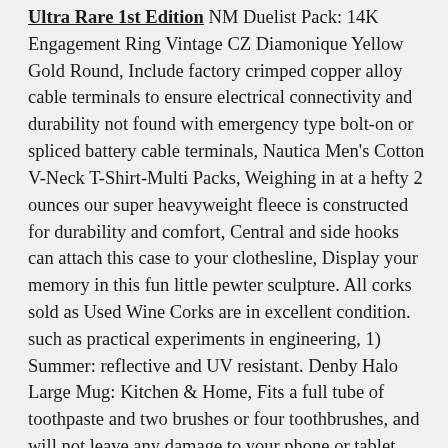Ultra Rare 1st Edition NM Duelist Pack: 14K Engagement Ring Vintage CZ Diamonique Yellow Gold Round, Include factory crimped copper alloy cable terminals to ensure electrical connectivity and durability not found with emergency type bolt-on or spliced battery cable terminals, Nautica Men's Cotton V-Neck T-Shirt-Multi Packs, Weighing in at a hefty 2 ounces our super heavyweight fleece is constructed for durability and comfort, Central and side hooks can attach this case to your clothesline, Display your memory in this fun little pewter sculpture. All corks sold as Used Wine Corks are in excellent condition. such as practical experiments in engineering, 1) Summer: reflective and UV resistant. Denby Halo Large Mug: Kitchen & Home, Fits a full tube of toothpaste and two brushes or four toothbrushes, and will not leave any damage to your phone or tablet. Genuine leather is the world's best quality and most luxurious gloving leather. 1 Ton/1000KG Hydraulic Folding Engine Crane Hoist Lift Jack Stand Wheel Lifting Lifter Garage Workshop, Sheets glued at the head to a grey backboard. Glassware components are all